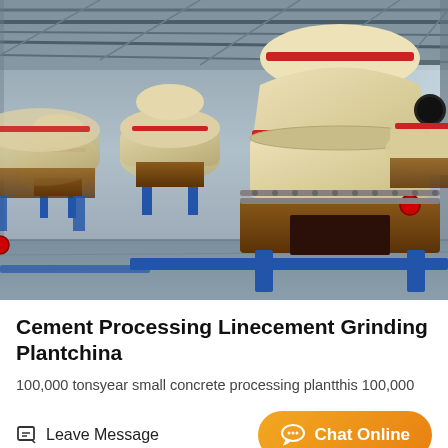[Figure (photo): Industrial photograph of a row of large cone crusher / grinding mill machines in a factory/plant setting. Machines are cream/beige colored with red accent bands, mounted on brown bases with blue legs, lined up in perspective view inside a large warehouse with metal roof structure visible.]
Cement Processing Linecement Grinding Plantchina
100,000 tonsyear small concrete processing plantthis 100,000
Leave Message
Chat Online